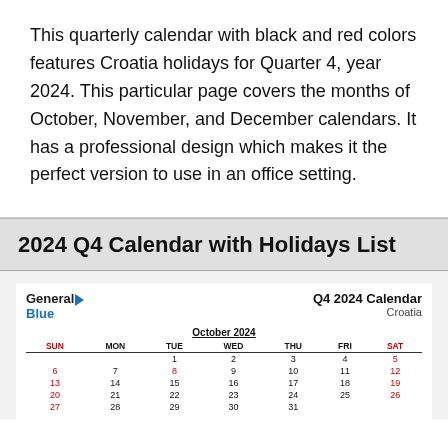This quarterly calendar with black and red colors features Croatia holidays for Quarter 4, year 2024. This particular page covers the months of October, November, and December calendars. It has a professional design which makes it the perfect version to use in an office setting.
2024 Q4 Calendar with Holidays List
[Figure (other): Q4 2024 Calendar for Croatia showing October 2024 with GeneralBlue logo. Days of week headers: SUN, MON, TUE, WED, THU, FRI, SAT. October dates shown with Sundays and Saturdays in red.]